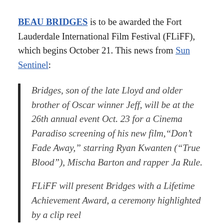BEAU BRIDGES is to be awarded the Fort Lauderdale International Film Festival (FLiFF), which begins October 21. This news from Sun Sentinel:
Bridges, son of the late Lloyd and older brother of Oscar winner Jeff, will be at the 26th annual event Oct. 23 for a Cinema Paradiso screening of his new film,“Don’t Fade Away,” starring Ryan Kwanten (“True Blood”), Mischa Barton and rapper Ja Rule.
FLiFF will present Bridges with a Lifetime Achievement Award, a ceremony highlighted by a clip reel